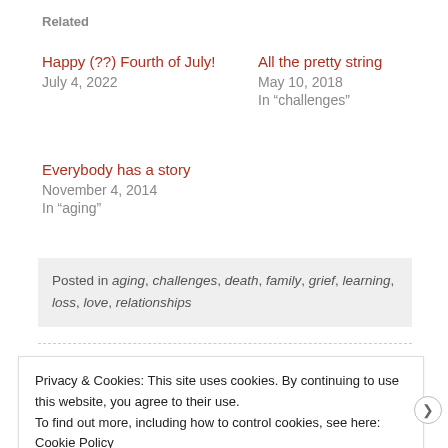Related
Happy (??) Fourth of July!
July 4, 2022
All the pretty string
May 10, 2018
In "challenges"
Everybody has a story
November 4, 2014
In "aging"
Posted in aging, challenges, death, family, grief, learning, loss, love, relationships
Privacy & Cookies: This site uses cookies. By continuing to use this website, you agree to their use.
To find out more, including how to control cookies, see here: Cookie Policy
Close and accept